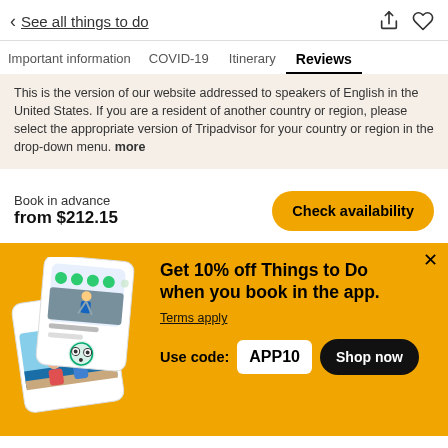< See all things to do
Important information   COVID-19   Itinerary   Reviews
This is the version of our website addressed to speakers of English in the United States. If you are a resident of another country or region, please select the appropriate version of Tripadvisor for your country or region in the drop-down menu. more
Book in advance
from $212.15
Check availability
Get 10% off Things to Do when you book in the app.
Terms apply
Use code:  APP10
Shop now